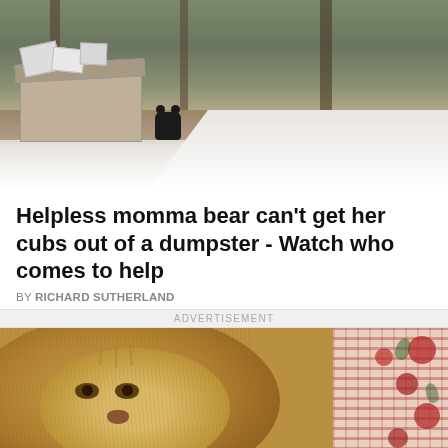[Figure (photo): Outdoor security camera footage showing a dumpster with papers/boxes on top, a black bear cub visible nearby, forest and brown ground in background, white slanted surface in foreground]
Helpless momma bear can't get her cubs out of a dumpster - Watch who comes to help
BY RICHARD SUTHERLAND
ADVERTISEMENT
[Figure (photo): Close-up photograph of a lion's face with golden mane, looking directly at camera with amber eyes; floral pattern fabric visible on right side]
© World of Animals   About Ads   Terms   Privacy   Do Not Sell My Info